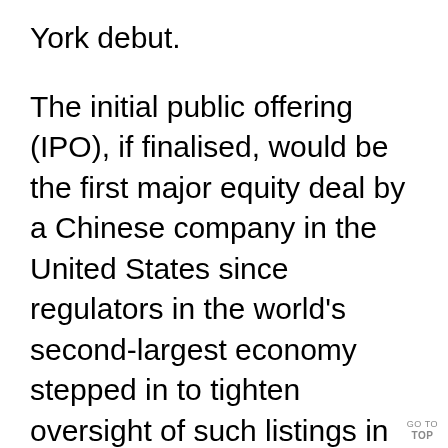York debut.
The initial public offering (IPO), if finalised, would be the first major equity deal by a Chinese company in the United States since regulators in the world's second-largest economy stepped in to tighten oversight of such listings in July.
SHEIN, founded by Chinese entrepreneur Chris Xu in 2008, first started preparing for a U.S. IPO about two years ago, but shelved the plan partly due to unpredictable markets amid rising U.S. China tensions, the sources said.
GO TO TOP